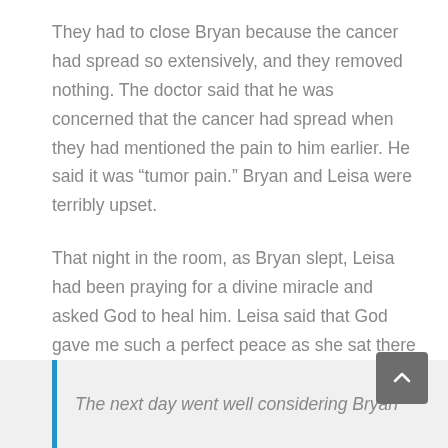They had to close Bryan because the cancer had spread so extensively, and they removed nothing. The doctor said that he was concerned that the cancer had spread when they had mentioned the pain to him earlier. He said it was “tumor pain.” Bryan and Leisa were terribly upset.
That night in the room, as Bryan slept, Leisa had been praying for a divine miracle and asked God to heal him. Leisa said that God gave me such a perfect peace as she sat there in silence. It had been a horrific day, the worst day of my life, and yet, God gave her peace.
The next day went well considering Bryan